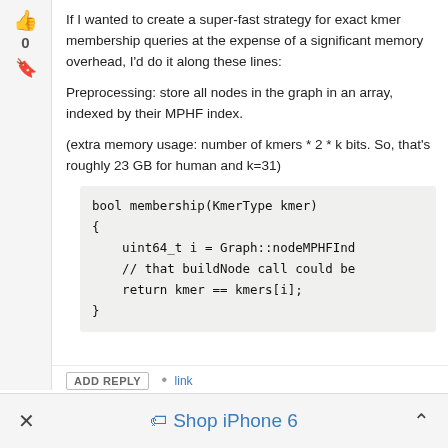If I wanted to create a super-fast strategy for exact kmer membership queries at the expense of a significant memory overhead, I'd do it along these lines:
Preprocessing: store all nodes in the graph in an array, indexed by their MPHF index.
(extra memory usage: number of kmers * 2 * k bits. So, that's roughly 23 GB for human and k=31)
ADD REPLY • link
× Shop iPhone 6 ^